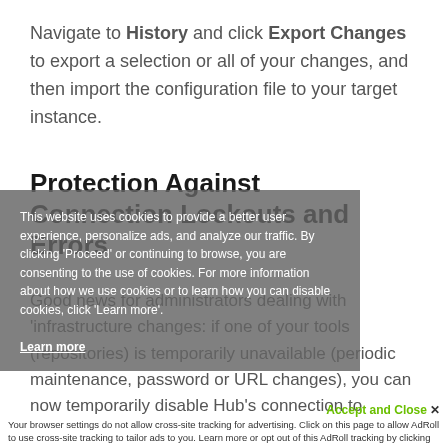Navigate to History and click Export Changes to export a selection or all of your changes, and then import the configuration file to your target instance.
Protection Against Connection Lockouts and Errors
Good news for administrators dealing with 'infrastructure changes: if one of your tools (repositories) is temporarily unavailable (periodic maintenance, password or URL changes), you can now temporarily disable Hub's connection to
This website uses cookies to provide a better user experience, personalize ads, and analyze our traffic. By clicking 'Proceed' or continuing to browse, you are consenting to the use of cookies. For more information about how we use cookies or to learn how you can disable cookies, click 'Learn more'.
Learn more
Accept and Close ×
Your browser settings do not allow cross-site tracking for advertising. Click on this page to allow AdRoll to use cross-site tracking to tailor ads to you. Learn more or opt out of this AdRoll tracking by clicking here. This message only appears once.